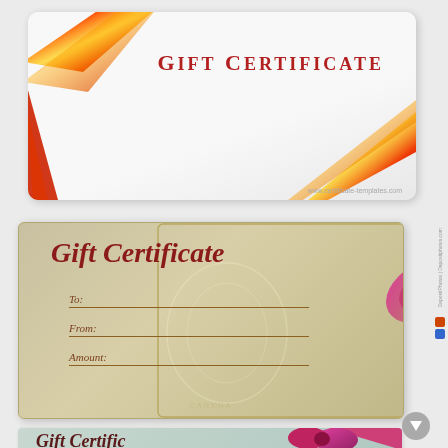[Figure (illustration): Gift certificate template with white background and diagonal red ribbon across top-left corner. Text reads GIFT CERTIFICATE in red serif bold lettering.]
[Figure (illustration): Gift certificate template with tan/gold ornate background and pink/magenta bow in upper right. Cursive text reads Gift Certificate with To, From, Amount fields.]
[Figure (illustration): Partial gift certificate template with light teal/mint ornate background and pink bow, showing cursive Gift Certificate text partially cut off.]